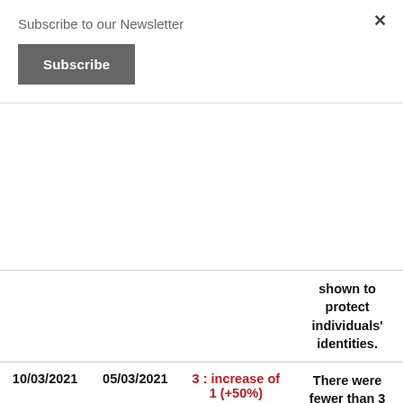Subscribe to our Newsletter
Subscribe
×
|  |  |  |  |
| --- | --- | --- | --- |
|  |  |  | shown to protect individuals' identities. |
| 10/03/2021 | 05/03/2021 | 3 : increase of 1 (+50%) | There were fewer than 3 cases, so data is not shown to protect individuals' |